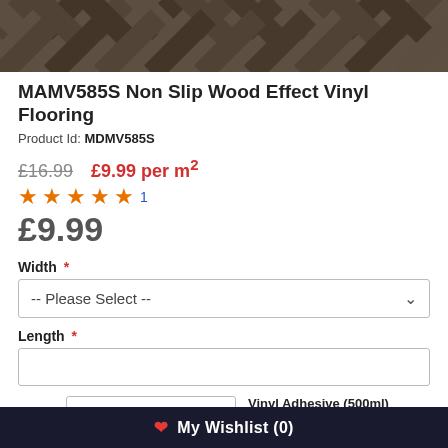[Figure (photo): Wood effect vinyl flooring pattern in dark grey/brown herringbone style, used as product hero image.]
MAMV585S Non Slip Wood Effect Vinyl Flooring
Product Id: MDMV585S
£16.99   £9.99 per m²
★★★★★ 1
£9.99
Width *
-- Please Select --
Length *
QTY  1
Vinyl Adhesive (500ml)  Save 30%
♥ My Wishlist (0)